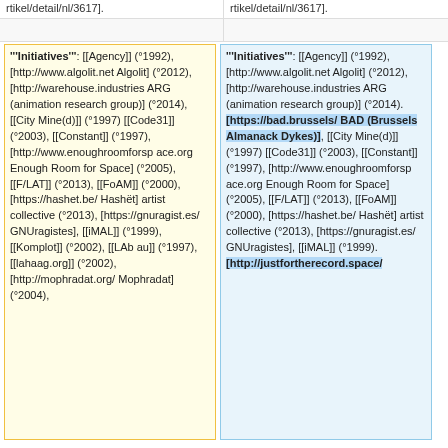rtikel/detail/nl/3617].
rtikel/detail/nl/3617].
'Initiatives': [[Agency]] (°1992), [http://www.algolit.net Algolit] (°2012), [http://warehouse.industries ARG (animation research group)] (°2014), [[City Mine(d)]] (°1997) [[Code31]] (°2003), [[Constant]] (°1997), [http://www.enoughroomforspace.org Enough Room for Space] (°2005), [[F/LAT]] (°2013), [[FoAM]] (°2000), [https://hashet.be/ Hashët] artist collective (°2013), [https://gnuragist.es/ GNUragistes], [[iMAL]] (°1999), [[Komplot]] (°2002), [[LAb au]] (°1997), [[lahaag.org]] (°2002), [http://mophradat.org/ Mophradat] (°2004),
'Initiatives': [[Agency]] (°1992), [http://www.algolit.net Algolit] (°2012), [http://warehouse.industries ARG (animation research group)] (°2014). [https://bad.brussels/ BAD (Brussels Almanack Dykes)], [[City Mine(d)]] (°1997) [[Code31]] (°2003), [[Constant]] (°1997), [http://www.enoughroomforspace.org Enough Room for Space] (°2005), [[F/LAT]] (°2013), [[FoAM]] (°2000), [https://hashet.be/ Hashët] artist collective (°2013), [https://gnuragist.es/ GNUragistes], [[iMAL]] (°1999), [http://justfortherecord.space/